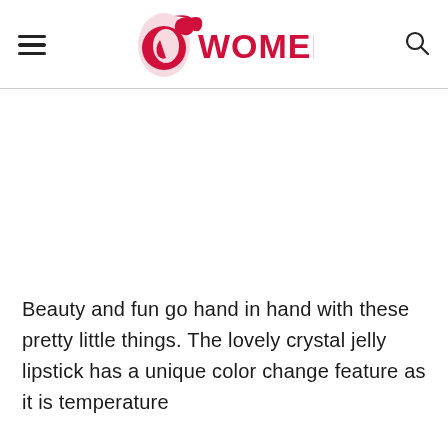Womenio
[Figure (other): Advertisement or blank content area below the header]
Beauty and fun go hand in hand with these pretty little things. The lovely crystal jelly lipstick has a unique color change feature as it is temperature